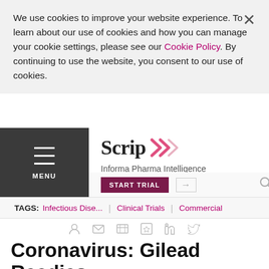We use cookies to improve your website experience. To learn about our use of cookies and how you can manage your cookie settings, please see our Cookie Policy. By continuing to use the website, you consent to our use of cookies.
[Figure (logo): Scrip Informa Pharma Intelligence logo with pink double-arrow chevron]
TAGS: Infectious Dise... | Clinical Trials | Commercial
Coronavirus: Gilead Readies For Remdesivir Ramp Up,